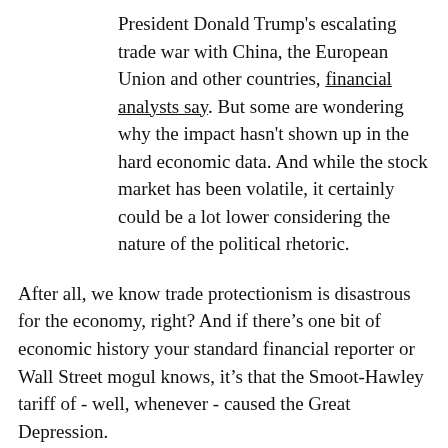President Donald Trump's escalating trade war with China, the European Union and other countries, financial analysts say. But some are wondering why the impact hasn't shown up in the hard economic data. And while the stock market has been volatile, it certainly could be a lot lower considering the nature of the political rhetoric.
After all, we know trade protectionism is disastrous for the economy, right? And if there's one bit of economic history your standard financial reporter or Wall Street mogul knows, it's that the Smoot-Hawley tariff of - well, whenever - caused the Great Depression.
Actually no, says economics Nobel prize winner Paul Krugman.
Or rather, that's what Krugman said in an NYT blog post "The Mitt Hawley Fallacy" on March 4, 2016, before the